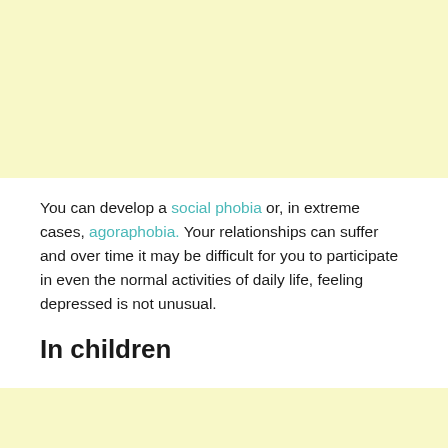You can develop a social phobia or, in extreme cases, agoraphobia. Your relationships can suffer and over time it may be difficult for you to participate in even the normal activities of daily life, feeling depressed is not unusual.
In children
Children experience phobia symptoms in different ways. Children with hemophobia can: